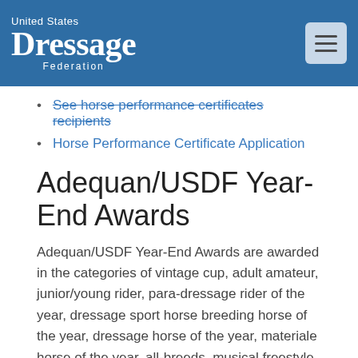United States Dressage Federation
See horse performance certificates recipients
Horse Performance Certificate Application
Adequan/USDF Year-End Awards
Adequan/USDF Year-End Awards are awarded in the categories of vintage cup, adult amateur, junior/young rider, para-dressage rider of the year, dressage sport horse breeding horse of the year, dressage horse of the year, materiale horse of the year, all-breeds, musical freestyle, musical freestyle challenge, breeder of the year, USEF four year-old and FEI five and six-year-old. The USDF competition year is October 1 through September 30.
General Rules
Learn more about the different Adequan/USDF Year-End Awards
Adequan/USDF All-Breeds Awards
Designed to recognize the accomplishments of specific breeds in dressage, these awards are presented to horses declared for a